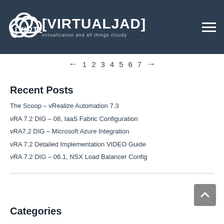[Figure (logo): VirtualJAD logo with cloud icon and text '[VIRTUALJAD]' and tagline 'virtualization and all things cloudy' on dark blue background]
← 1 2 3 4 5 6 7 →
Recent Posts
The Scoop – vRealize Automation 7.3
vRA 7.2 DIG – 08, IaaS Fabric Configuration
vRA7.2 DIG – Microsoft Azure Integration
vRA 7.2 Detailed Implementation VIDEO Guide
vRA 7.2 DIG – 06.1, NSX Load Balancer Config
Categories